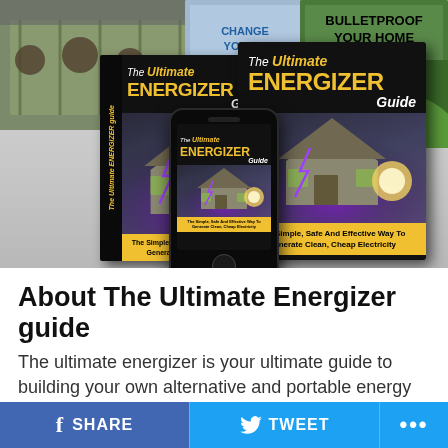[Figure (illustration): Product bundle image showing The Ultimate Energizer Guide as book, DVD case, and smartphone display. Background shows additional guide covers including 'Bulletproof Your Home With Energy'. Tagline: 'The Simple, Safe And Effective Way To Generate Clean, Cheap Electricity'.]
About The Ultimate Energizer guide
The ultimate energizer is your ultimate guide to building your own alternative and portable energy source to...